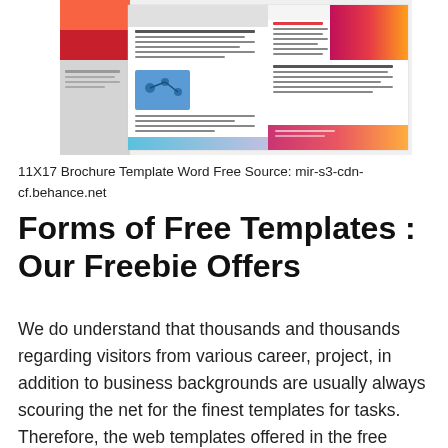[Figure (illustration): A brochure template mockup showing a multi-page 11x17 brochure with colorful design elements including blue, red, pink gradients, text columns, and small product images against a white background.]
11X17 Brochure Template Word Free Source: mir-s3-cdn-cf.behance.net
Forms of Free Templates : Our Freebie Offers
We do understand that thousands and thousands regarding visitors from various career, project, in addition to business backgrounds are usually always scouring the net for the finest templates for tasks. Therefore, the web templates offered in the free templates parts are of various categories, from personal and business web